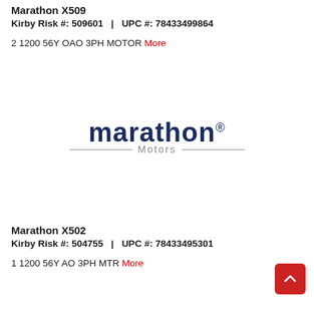Marathon X509
Kirby Risk #: 509601   |   UPC #: 78433499864
2 1200 56Y OAO 3PH MOTOR More
[Figure (logo): Marathon Motors logo with dark navy bold 'marathon' text and registered trademark symbol, horizontal line with 'Motors' text beneath]
Marathon X502
Kirby Risk #: 504755   |   UPC #: 78433495301
1 1200 56Y AO 3PH MTR More